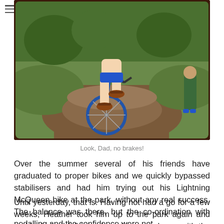[Figure (photo): Child riding a blue bicycle on a dirt path in a park, seen from behind/below showing the wheels and child's sandaled feet. Green grass and trees in background. Another figure visible at right edge.]
Look, Dad, no brakes!
Over the summer several of his friends have graduated to proper bikes and we quickly bypassed stabilisers and had him trying out his Lightning McQueen bike at the park, without any real success. The balance was there, but the co-ordination with pedalling and the confidence were not.
Until yesterday, that is. Having not had a go for a few weeks, Heather took him up to the park again and suddenly it all fell into place. He came home with the biggest grin on his face, and insisted on dragging me outside after lunch to show off his new-found skills. And